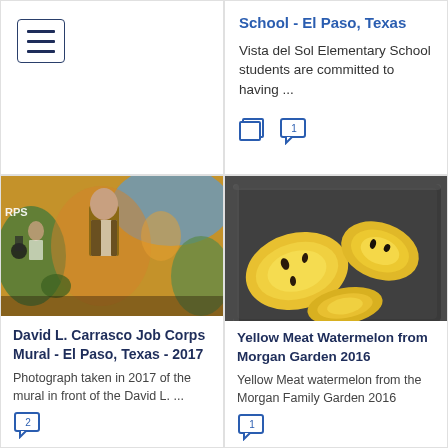[Figure (other): Hamburger/menu icon in a bordered box]
School - El Paso, Texas
Vista del Sol Elementary School students are committed to having ...
[Figure (photo): Photograph of the David L. Carrasco Job Corps mural in El Paso, Texas 2017]
David L. Carrasco Job Corps Mural - El Paso, Texas - 2017
Photograph taken in 2017 of the mural in front of the David L. ...
[Figure (photo): Yellow Meat Watermelon from Morgan Family Garden 2016 - sliced watermelon in a dark tray]
Yellow Meat Watermelon from Morgan Garden 2016
Yellow Meat watermelon from the Morgan Family Garden 2016